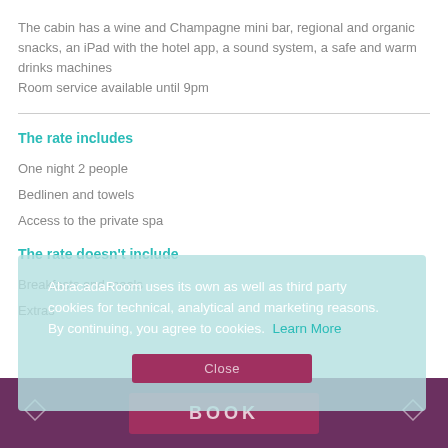The cabin has a wine and Champagne mini bar, regional and organic snacks, an iPad with the hotel app, a sound system, a safe and warm drinks machines
Room service available until 9pm
The rate includes
One night 2 people
Bedlinen and towels
Access to the private spa
The rate doesn't include
Breakfasts and meals
Extras
AbracadaRoom uses its own as well as third party cookies for technical, analytical and marketing reasons. By continuing, you agree to cookies. Learn More
Close
BOOK